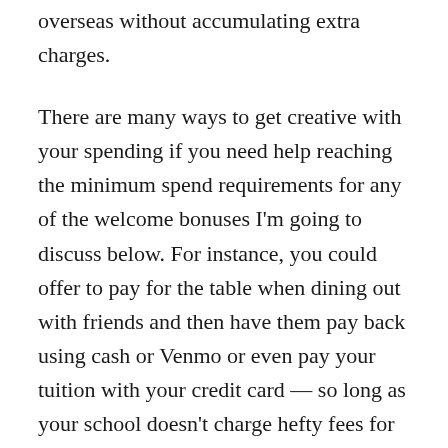overseas without accumulating extra charges.
There are many ways to get creative with your spending if you need help reaching the minimum spend requirements for any of the welcome bonuses I'm going to discuss below. For instance, you could offer to pay for the table when dining out with friends and then have them pay back using cash or Venmo or even pay your tuition with your credit card — so long as your school doesn't charge hefty fees for doing so. Additionally, it's important to